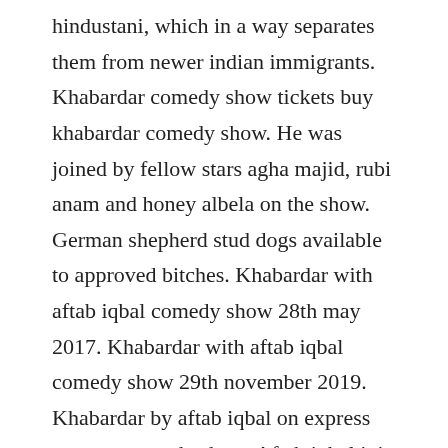hindustani, which in a way separates them from newer indian immigrants. Khabardar comedy show tickets buy khabardar comedy show. He was joined by fellow stars agha majid, rubi anam and honey albela on the show. German shepherd stud dogs available to approved bitches. Khabardar with aftab iqbal comedy show 28th may 2017. Khabardar with aftab iqbal comedy show 29th november 2019. Khabardar by aftab iqbal on express news tv comedy show. Aftab iqbal join as tv anchor journalist and also he write column for the express news.